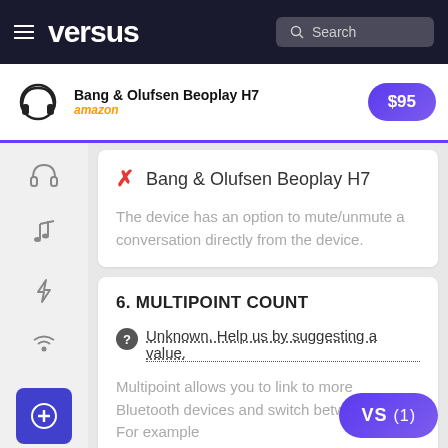versus — Search
[Figure (screenshot): Ad banner for Bang & Olufsen Beoplay H7 on Amazon showing headphone image and $95 price button]
✗ Bang & Olufsen Beoplay H7
The device has an option to mute/unmute a conversation directly from the device.
6. MULTIPOINT COUNT
Unknown. Help us by suggesting a value.
Multipoint allows you to link to more Bluetooth devices and switch between them. For example
7. CONTROL PANEL PLACED ON A D